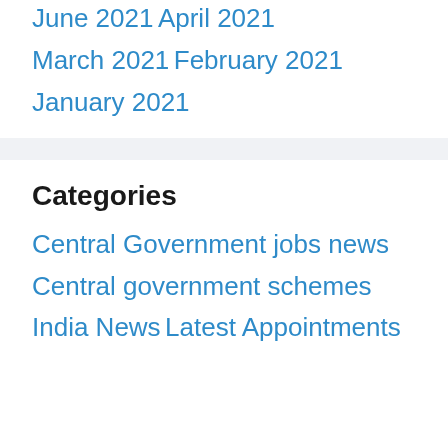June 2021
April 2021
March 2021
February 2021
January 2021
Categories
Central Government jobs news
Central government schemes
India News
Latest Appointments